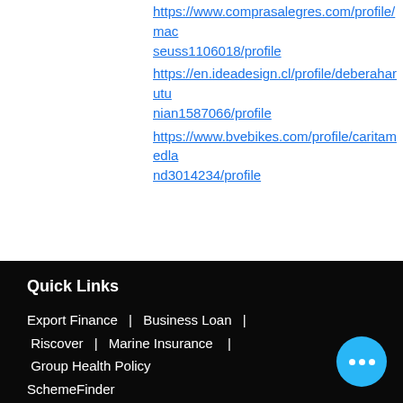https://www.comprasalegres.com/profile/macseuss1106018/profile
https://en.ideadesign.cl/profile/deberaharutunian1587066/profile
https://www.bvebikes.com/profile/caritamedland3014234/profile
Quick Links
Export Finance | Business Loan | Riscover | Marine Insurance | Group Health Policy SchemeFinder
About SME MaXX
About Us | Contact Us Blog | Privacy Policy